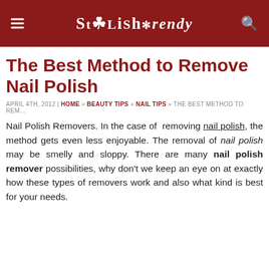StYLiShTrendy
The Best Method to Remove Nail Polish
APRIL 4TH, 2012 | HOME » BEAUTY TIPS » NAIL TIPS » THE BEST METHOD TO REM…
Nail Polish Removers. In the case of removing nail polish, the method gets even less enjoyable. The removal of nail polish may be smelly and sloppy. There are many nail polish remover possibilities, why don't we keep an eye on at exactly how these types of removers work and also what kind is best for your needs.